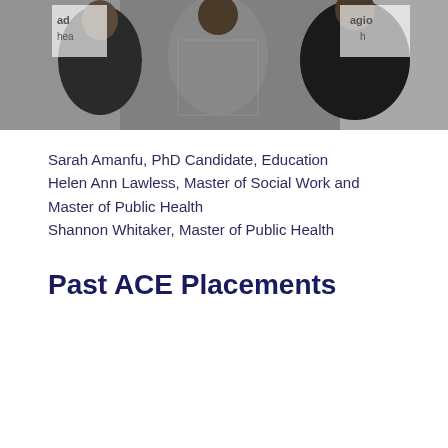[Figure (photo): A photograph of three people (two in dark suits and one in a patterned coat) standing together in front of a backdrop with logos including 'agio health'.]
Sarah Amanfu, PhD Candidate, Education
Helen Ann Lawless, Master of Social Work and Master of Public Health
Shannon Whitaker, Master of Public Health
Past ACE Placements